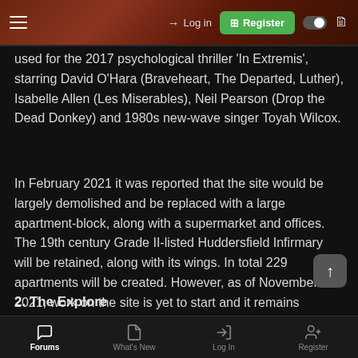Log in | Register (navigation bar)
used for the 2017 psychological thriller 'In Extremis', starring David O'Hara (Braveheart, The Departed, Luther), Isabelle Allen (Les Miserables), Neil Pearson (Drop the Dead Donkey) and 1980s new-wave singer Toyah Wilcox.
In February 2021 it was reported that the site would be largely demolished and be replaced with a large apartment-block, along with a supermarket and offices. The 19th century Grade II-listed Huddersfield Infirmary will be retained, along with its wings. In total 229 apartments will be created. However, as of November 2021, work on the site is yet to start and it remains decaying and a bit of an eyesore.
2. The Explore
Forums | What's New | Log In | Register